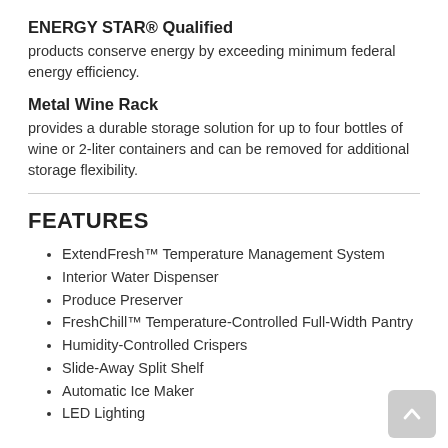ENERGY STAR® Qualified
products conserve energy by exceeding minimum federal energy efficiency.
Metal Wine Rack
provides a durable storage solution for up to four bottles of wine or 2-liter containers and can be removed for additional storage flexibility.
FEATURES
ExtendFresh™ Temperature Management System
Interior Water Dispenser
Produce Preserver
FreshChill™ Temperature-Controlled Full-Width Pantry
Humidity-Controlled Crispers
Slide-Away Split Shelf
Automatic Ice Maker
LED Lighting